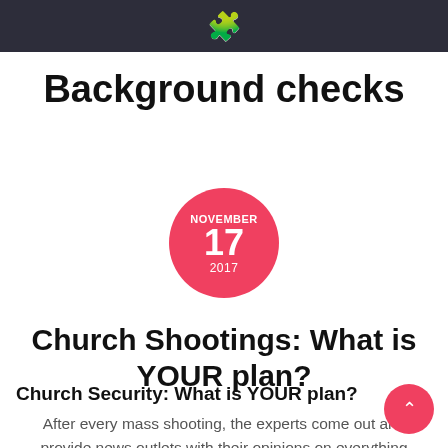🧩
Background checks
[Figure (other): Red circle date badge showing NOVEMBER 17 2017]
Church Shootings: What is YOUR plan?
Church Security: What is YOUR plan?
After every mass shooting, the experts come out and provide news outlets with their opinions on everything from gun control to background checks to police